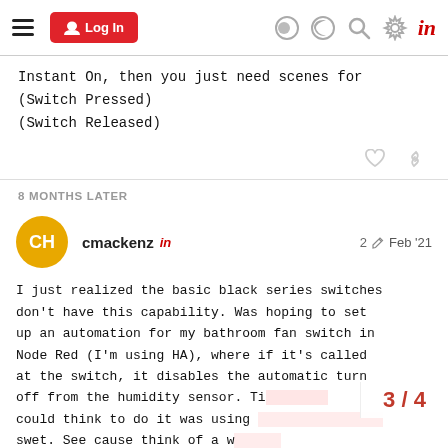Log In [navigation bar with hamburger menu, login button, theme toggle, search, settings, and 'in' logo]
Instant On, then you just need scenes for
(Switch Pressed)
(Switch Released)
8 MONTHS LATER
cmackenz  in   2 ✏  Feb '21
I just realized the basic black series switches don't have this capability. Was hoping to set up an automation for my bathroom fan switch in Node Red (I'm using HA), where if it's called at the switch, it disables the automatic turn off from the humidity sensor. Ti could think to do it was using swet. See cause think of a w
3 / 4